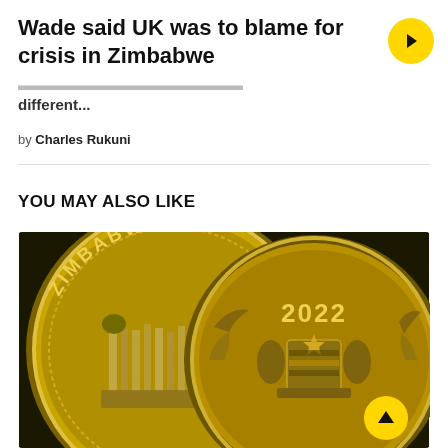Wade said UK was to blame for crisis in Zimbabwe
...Portuguese President needs to be different...
by Charles Rukuni
YOU MAY ALSO LIKE
[Figure (photo): Close-up photograph of two gold Zimbabwe coins showing 'ZIMBABWE' text and '2022' date with national coat of arms and Victoria Falls imagery]